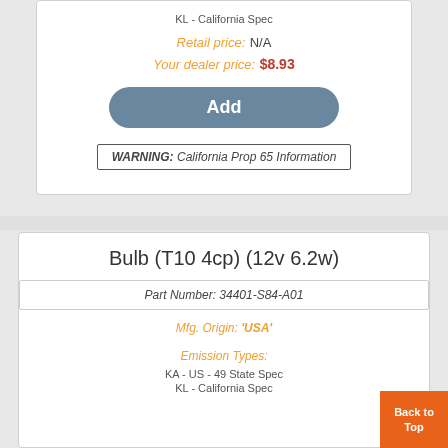KL - California Spec
Retail price: N/A
Your dealer price: $8.93
Add
WARNING: California Prop 65 Information
Bulb (T10 4cp) (12v 6.2w)
Part Number: 34401-S84-A01
Mfg. Origin: 'USA'
Emission Types:
KA - US - 49 State Spec
KL - California Spec
Back to Top